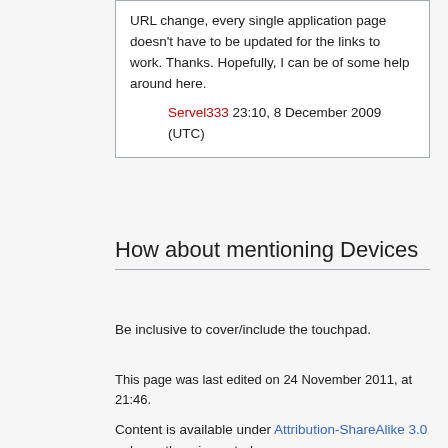URL change, every single application page doesn't have to be updated for the links to work. Thanks. Hopefully, I can be of some help around here.
Servel333 23:10, 8 December 2009 (UTC)
How about mentioning Devices
Be inclusive to cover/include the touchpad.
This page was last edited on 24 November 2011, at 21:46.
Content is available under Attribution-ShareAlike 3.0 unless otherwise noted.
Privacy policy   About WebOS Internals